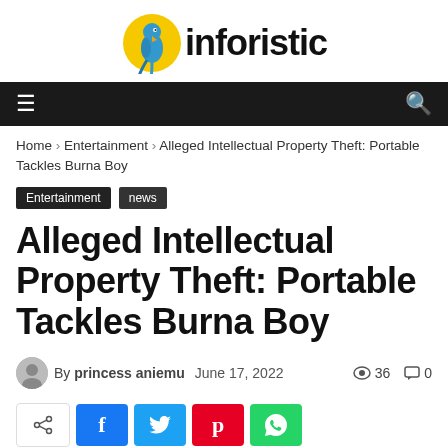[Figure (logo): Inforistic logo with parrot icon and bold text]
Navigation bar with hamburger menu and search icon
Home › Entertainment › Alleged Intellectual Property Theft: Portable Tackles Burna Boy
Entertainment  news
Alleged Intellectual Property Theft: Portable Tackles Burna Boy
By princess aniemu  June 17, 2022  👁 36  💬 0